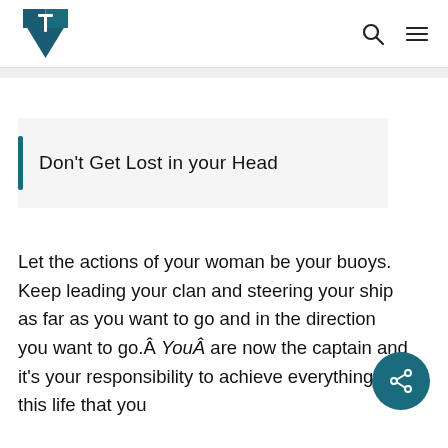[Logo: shield with T symbol] [search icon] [menu icon]
Don't Get Lost in your Head
Let the actions of your woman be your buoys. Keep leading your clan and steering your ship as far as you want to go and in the direction you want to go.Â YouÂ are now the captain and it's your responsibility to achieve everything in this life that you